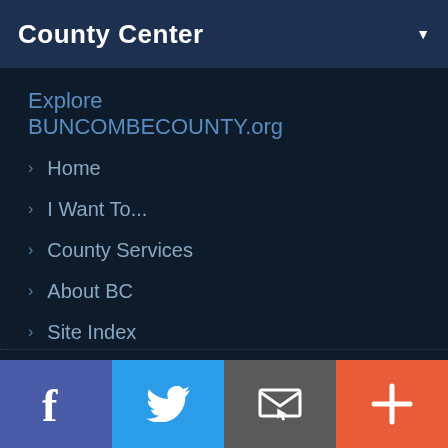County Center
Explore BUNCOMBECOUNTY.org
Home
I Want To...
County Services
About BC
Site Index
Employee Access
[Figure (infographic): Footer social media bar with four buttons: Facebook (purple), Twitter (blue), Email/newsletter (gray), and Plus/more (red-orange). Each shows a white icon.]